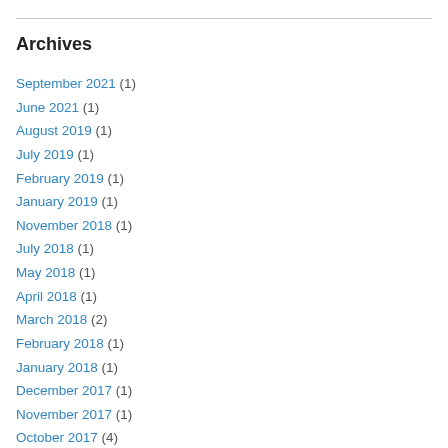Archives
September 2021 (1)
June 2021 (1)
August 2019 (1)
July 2019 (1)
February 2019 (1)
January 2019 (1)
November 2018 (1)
July 2018 (1)
May 2018 (1)
April 2018 (1)
March 2018 (2)
February 2018 (1)
January 2018 (1)
December 2017 (1)
November 2017 (1)
October 2017 (4)